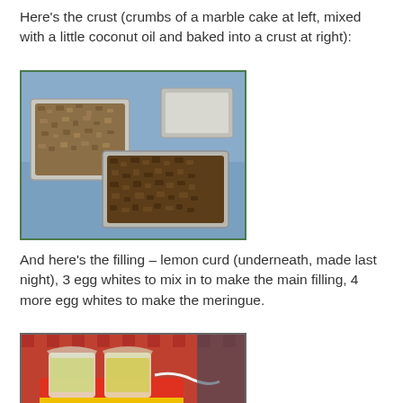Here's the crust (crumbs of a marble cake at left, mixed with a little coconut oil and baked into a crust at right):
[Figure (photo): Two aluminum baking pans on a blue patterned tablecloth, containing crumbled cake/crust mixture — one pan at upper left with lighter crumbs, one pan at lower right with darker baked crust.]
And here's the filling – lemon curd (underneath, made last night), 3 egg whites to mix in to make the main filling, 4 more egg whites to make the meringue.
[Figure (photo): A red and yellow 'Hot Heat' container holding two clear cups with yellowish liquid (lemon curd), with a white tube nearby, on a red checkered tablecloth.]